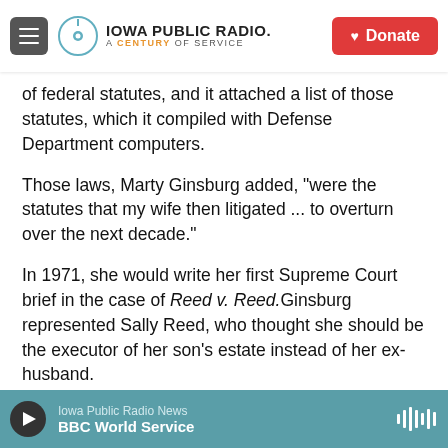Iowa Public Radio — A Century of Service | Donate
of federal statutes, and it attached a list of those statutes, which it compiled with Defense Department computers.
Those laws, Marty Ginsburg added, "were the statutes that my wife then litigated ... to overturn over the next decade."
In 1971, she would write her first Supreme Court brief in the case of Reed v. Reed. Ginsburg represented Sally Reed, who thought she should be the executor of her son's estate instead of her ex-husband.
Iowa Public Radio News — BBC World Service